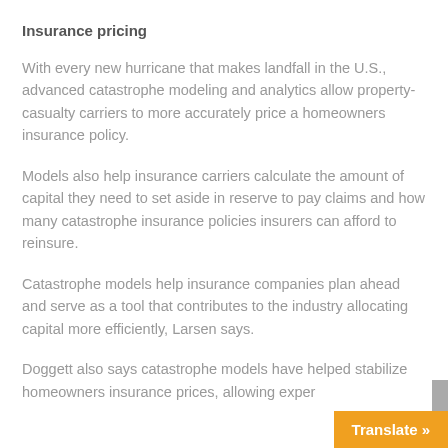Insurance pricing
With every new hurricane that makes landfall in the U.S., advanced catastrophe modeling and analytics allow property-casualty carriers to more accurately price a homeowners insurance policy.
Models also help insurance carriers calculate the amount of capital they need to set aside in reserve to pay claims and how many catastrophe insurance policies insurers can afford to reinsure.
Catastrophe models help insurance companies plan ahead and serve as a tool that contributes to the industry allocating capital more efficiently, Larsen says.
Doggett also says catastrophe models have helped stabilize homeowners insurance prices, allowing exper…